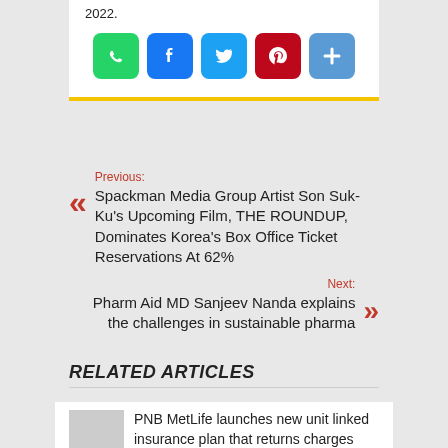2022.
[Figure (infographic): Social share icons: WhatsApp (green), Facebook (blue), Twitter (light blue), Pinterest (red), Share/Add (light blue)]
Previous: Spackman Media Group Artist Son Suk-Ku's Upcoming Film, THE ROUNDUP, Dominates Korea's Box Office Ticket Reservations At 62%
Next: Pharm Aid MD Sanjeev Nanda explains the challenges in sustainable pharma
RELATED ARTICLES
PNB MetLife launches new unit linked insurance plan that returns charges deducted during the policy